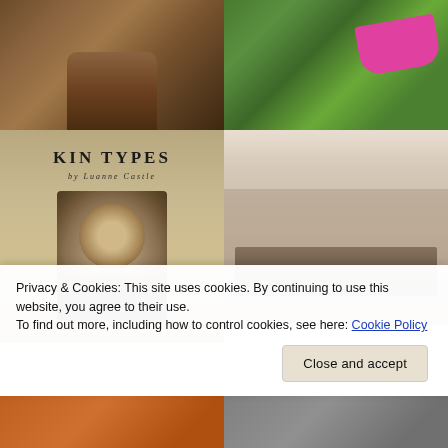[Figure (photo): Close-up photo of worn brown leather boots from above]
[Figure (photo): Pink toy wheelbarrow in a garden with green plants and flowers]
[Figure (photo): Book cover for 'Kin Types by Luanne Castle' showing a Victorian-era portrait of a woman]
[Figure (photo): Old sepia-toned historical photograph of a group of people on a platform or dock with buildings in the background]
Privacy & Cookies: This site uses cookies. By continuing to use this website, you agree to their use.
To find out more, including how to control cookies, see here: Cookie Policy
Close and accept
[Figure (photo): Bottom strip showing two partial photos - left appears orange/brown toned, right appears grey/monochrome]